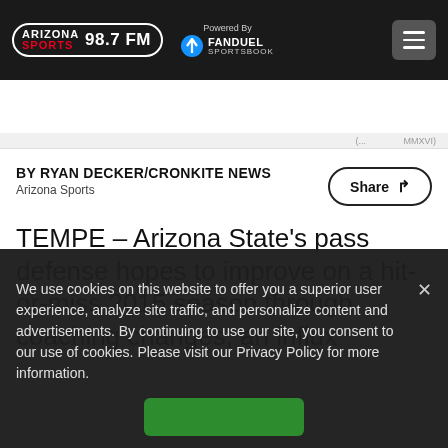Arizona Sports 98.7 FM — Powered By FanDuel Sportsbook
BY RYAN DECKER/CRONKITE NEWS
Arizona Sports
Share
TEMPE – Arizona State's pass defense hopes to improve on a hit-or-miss 2015 season through coaching changes, an influx of new talent, and attention to detail
We use cookies on this website to offer you a superior user experience, analyze site traffic, and personalize content and advertisements. By continuing to use our site, you consent to our use of cookies. Please visit our Privacy Policy for more information.